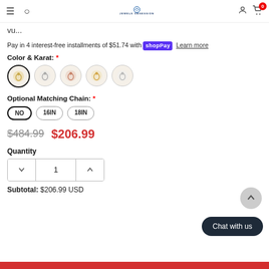JEWELS OBSESSION — navigation bar with hamburger, search, logo, user, cart (0)
vu...
Pay in 4 interest-free installments of $51.74 with shop Pay  Learn more
Color & Karat: *
[Figure (other): Five circular color/karat swatches for jewelry: yellow gold (selected), white/silver, rose gold, yellow-lighter, silver-light]
Optional Matching Chain: *
[Figure (other): Three chain length option buttons: NO (selected), 16IN, 18IN]
$484.99  $206.99
Quantity
[Figure (other): Quantity control with down arrow, value 1, up arrow]
Subtotal:  $206.99 USD